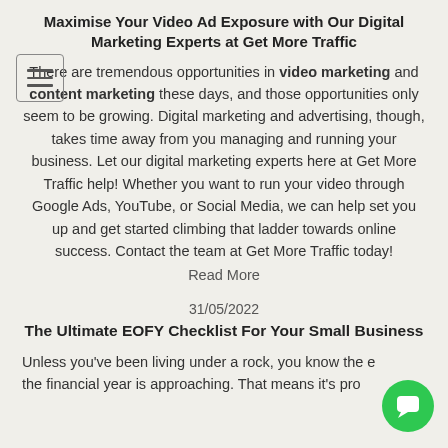Maximise Your Video Ad Exposure with Our Digital Marketing Experts at Get More Traffic
There are tremendous opportunities in video marketing and content marketing these days, and those opportunities only seem to be growing. Digital marketing and advertising, though, takes time away from you managing and running your business. Let our digital marketing experts here at Get More Traffic help! Whether you want to run your video through Google Ads, YouTube, or Social Media, we can help set you up and get started climbing that ladder towards online success. Contact the team at Get More Traffic today!
Read More
31/05/2022
The Ultimate EOFY Checklist For Your Small Business
Unless you've been living under a rock, you know the end of the financial year is approaching. That means it's probably